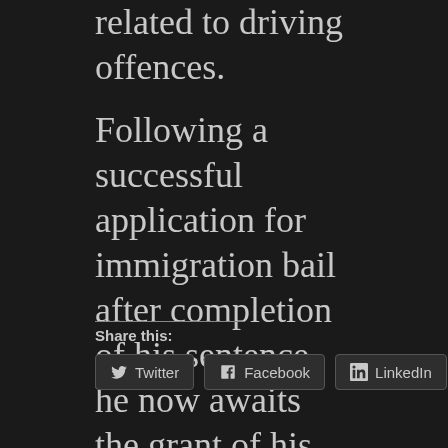related to driving offences. Following a successful application for immigration bail after completion of his sentence, he now awaits the grant of his leave to remain whilst he continues to support his partner with their children.
Share this: